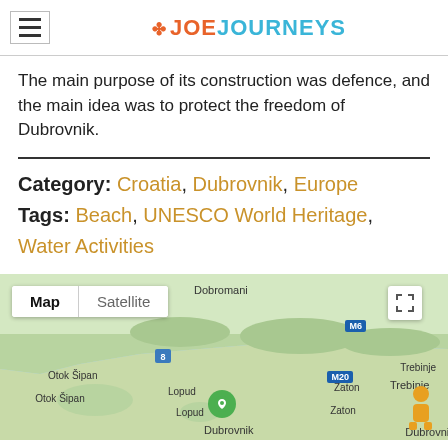JoeJourneys
The main purpose of its construction was defence, and the main idea was to protect the freedom of Dubrovnik.
Category: Croatia, Dubrovnik, Europe
Tags: Beach, UNESCO World Heritage, Water Activities
[Figure (map): Google Maps view showing Dubrovnik area, Croatia, with Map/Satellite toggle. Shows Otok Šipan, Lopud, Zaton, Dubrovnik marker, Dobromani, M6, M20, Trebinje labels.]